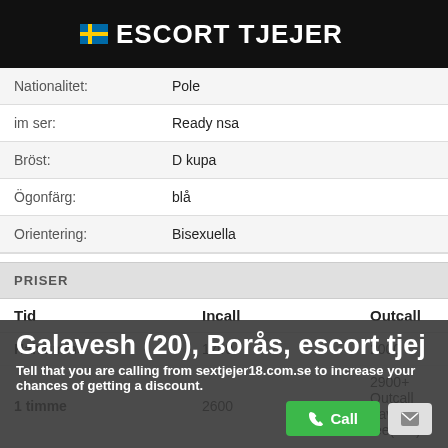ESCORT TJEJER
| Nationalitet: | Pole |
| im ser: | Ready nsa |
| Bröst: | D kupa |
| Ögonfärg: | blå |
| Orientering: | Bisexuella |
PRISER
| Tid | Incall | Outcall |
| --- | --- | --- |
| Halvtimme | 1700 | 2000 |
| 1 timme | 2600 | 2900+ Outcall travel fee(taxi) |
| Plus timmar | 3000 |  |
| 12 timmar |  |  |
Galavesh (20), Borås, escort tjej
Tell that you are calling from sextjejer18.com.se to increase your chances of getting a discount.